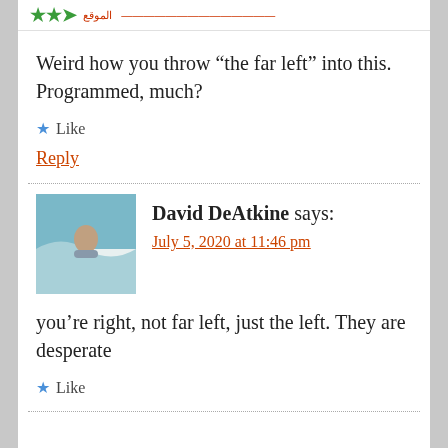[Figure (logo): Green star/flag logo and red Arabic/decorative text header]
Weird how you throw “the far left” into this. Programmed, much?
★ Like
Reply
David DeAtkine says:
July 5, 2020 at 11:46 pm
you’re right, not far left, just the left. They are desperate
★ Like